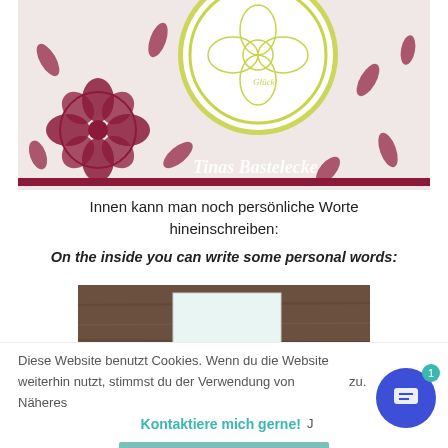[Figure (photo): Close-up photo of a handmade greeting card with dark red/burgundy floral stamped pattern on white background, with a scalloped circular embellishment featuring green stamped floral design. White cursive text in bottom right reads 'Tinas Bastelecke'.]
Innen kann man noch persönliche Worte hineinschreiben:
On the inside you can write some personal words:
[Figure (photo): Photo of open card interior showing a white blank insert against a dark brown wood-grain background.]
Diese Website benutzt Cookies. Wenn du die Website weiterhin nutzt, stimmst du der Verwendung von Cookies zu. Näheres
Kontaktiere mich gerne!
Akzeptieren und schließen